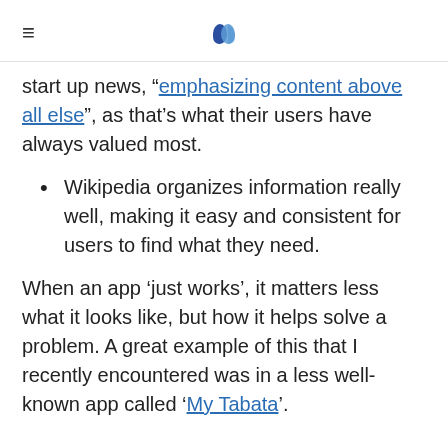[navigation header with logo]
start up news, “emphasizing content above all else”, as that’s what their users have always valued most.
Wikipedia organizes information really well, making it easy and consistent for users to find what they need.
When an app ‘just works’, it matters less what it looks like, but how it helps solve a problem. A great example of this that I recently encountered was in a less well-known app called ‘My Tabata’.